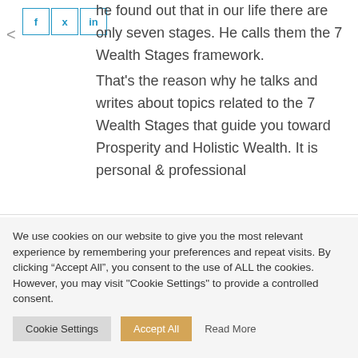he found out that in our life there are only seven stages. He calls them the 7 Wealth Stages framework.
That's the reason why he talks and writes about topics related to the 7 Wealth Stages that guide you toward Prosperity and Holistic Wealth. It is personal & professional
We use cookies on our website to give you the most relevant experience by remembering your preferences and repeat visits. By clicking “Accept All”, you consent to the use of ALL the cookies. However, you may visit "Cookie Settings" to provide a controlled consent.